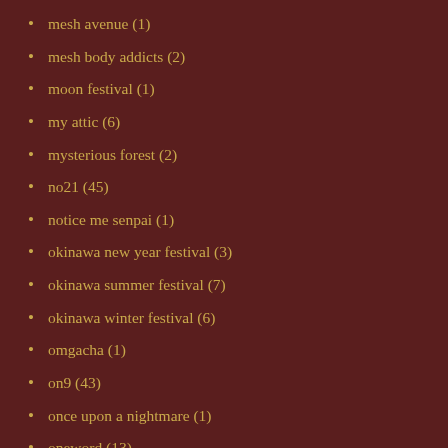mesh avenue (1)
mesh body addicts (2)
moon festival (1)
my attic (6)
mysterious forest (2)
no21 (45)
notice me senpai (1)
okinawa new year festival (3)
okinawa summer festival (7)
okinawa winter festival (6)
omgacha (1)
on9 (43)
once upon a nightmare (1)
oneword (13)
panic of pumpkin okinawa (4)
parties (1)
paying it forward (3)
pocketgacha (12)